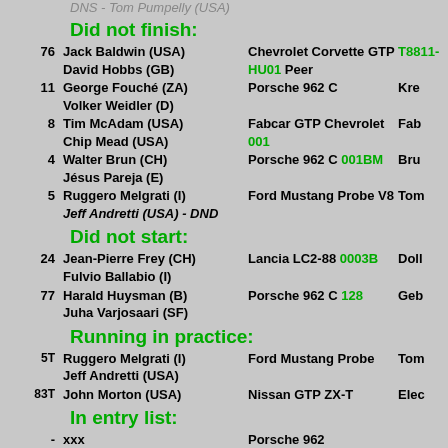DNS - Tom Pumpelly (USA)
Did not finish:
76 Jack Baldwin (USA) / David Hobbs (GB) — Chevrolet Corvette GTP T8811-HU01
11 George Fouché (ZA) / Volker Weidler (D) — Porsche 962 C
8 Tim McAdam (USA) / Chip Mead (USA) — Fabcar GTP Chevrolet 001
4 Walter Brun (CH) / Jésus Pareja (E) — Porsche 962 C 001BM
5 Ruggero Melgrati (I) / Jeff Andretti (USA) - DND — Ford Mustang Probe V8
Did not start:
24 Jean-Pierre Frey (CH) / Fulvio Ballabio (I) — Lancia LC2-88 0003B
77 Harald Huysman (B) / Juha Varjosaari (SF) — Porsche 962 C 128
Running in practice:
5T Ruggero Melgrati (I) / Jeff Andretti (USA) — Ford Mustang Probe
83T John Morton (USA) — Nissan GTP ZX-T
In entry list:
- xxx — Porsche 962
9 Tom Hessert (USA) / David Loring (USA) — Tiga GT288 Buick 367